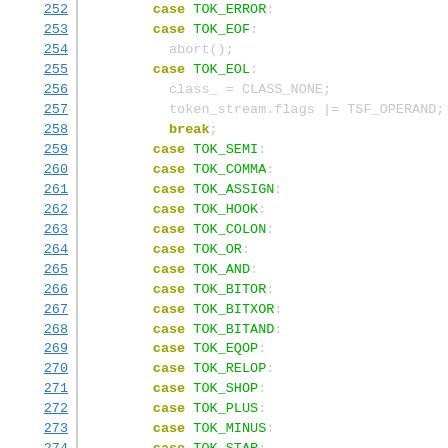[Figure (screenshot): Source code listing showing C/C++ switch-case statements with token type constants. Line numbers 252-274 are shown on the left as hyperlinks in blue, with syntax-highlighted code: keywords in olive/yellow-green, token constants in green, and punctuation/operators in dark text.]